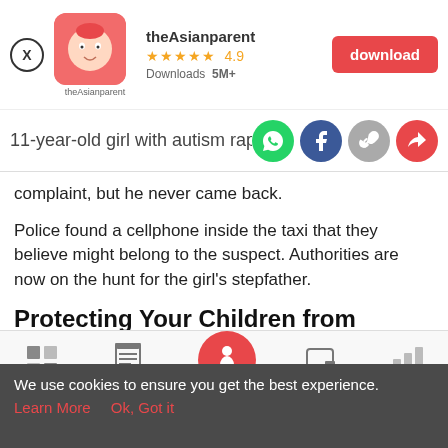[Figure (screenshot): App store banner for theAsianparent app with icon, 4.9 star rating, 5M+ downloads, and a red download button]
11-year-old girl with autism raped by [...]
complaint, but he never came back.
Police found a cellphone inside the taxi that they believe might belong to the suspect. Authorities are now on the hunt for the girl’s stepfather.
Protecting Your Children from Abuse
[Figure (photo): Blurred/grayscale photographic image strip]
[Figure (screenshot): Mobile app bottom navigation bar with Tools, Articles, Home (pregnant woman icon), Feed, and Poll items]
We use cookies to ensure you get the best experience.
Learn More   Ok, Got it